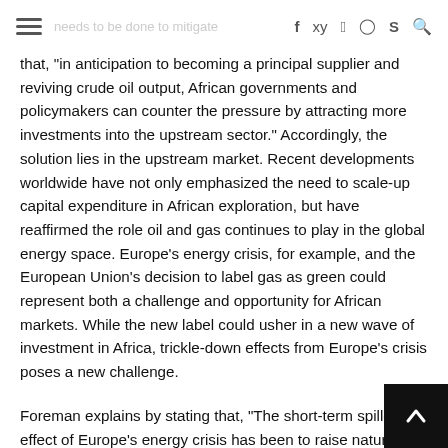[hamburger menu] [faded text: needs to be done to mitigate] [social icons: f, twitter, pinterest, instagram, skype, search]
that, "in anticipation to becoming a principal supplier and reviving crude oil output, African governments and policymakers can counter the pressure by attracting more investments into the upstream sector." Accordingly, the solution lies in the upstream market. Recent developments worldwide have not only emphasized the need to scale-up capital expenditure in African exploration, but have reaffirmed the role oil and gas continues to play in the global energy space. Europe’s energy crisis, for example, and the European Union’s decision to label gas as green could represent both a challenge and opportunity for African markets. While the new label could usher in a new wave of investment in Africa, trickle-down effects from Europe’s crisis poses a new challenge.
Foreman explains by stating that, “The short-term spillover effect of Europe’s energy crisis has been to raise natural gas and other energy commodity prices, and short of government intervention in markets that could have a cooling effect on prospective investments the current cycle likely needs to work itself out.